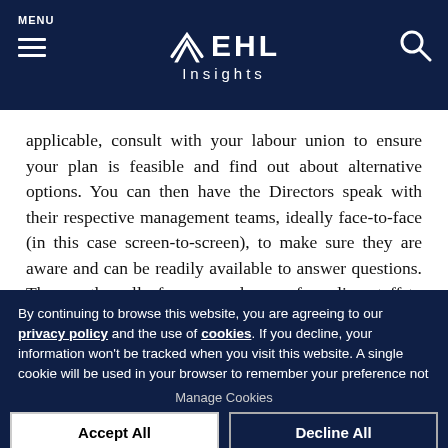MENU | EHL Insights
applicable, consult with your labour union to ensure your plan is feasible and find out about alternative options. You can then have the Directors speak with their respective management teams, ideally face-to-face (in this case screen-to-screen), to make sure they are aware and can be readily available to answer questions. Then, gather all of your employees, from line staff to GM, and offer the
By continuing to browse this website, you are agreeing to our privacy policy and the use of cookies. If you decline, your information won't be tracked when you visit this website. A single cookie will be used in your browser to remember your preference not to be tracked.
Manage Cookies
Accept All
Decline All